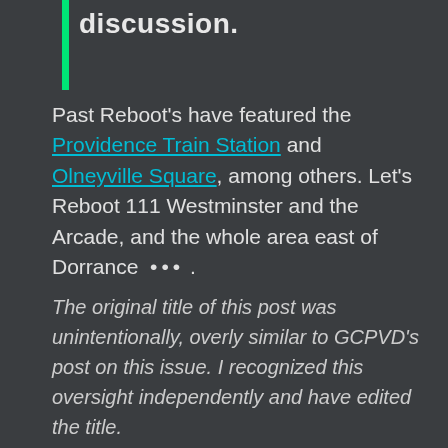discussion.
Past Reboot's have featured the Providence Train Station and Olneyville Square, among others. Let's Reboot 111 Westminster and the Arcade, and the whole area east of Dorrance ••• .
The original title of this post was unintentionally, overly similar to GCPVD's post on this issue. I recognized this oversight independently and have edited the title.